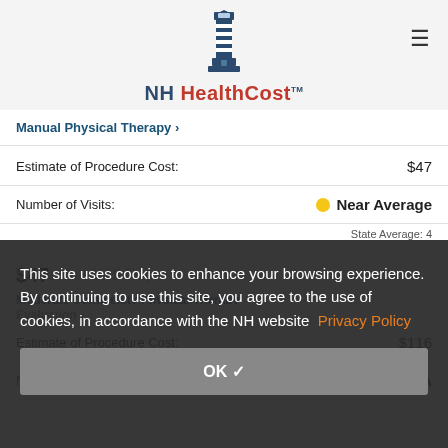NH HealthCost
Manual Physical Therapy >
|  |  |
| --- | --- |
| Estimate of Procedure Cost: | $47 |
| Number of Visits: | Near Average |
| State Average: 4 |  |
| What You Will Pay: | $47 |
Moderate Complexity Physical Therapy
Evaluation >
|  |  |
| --- | --- |
| Estimate of Procedure Cost: | $116 |
| Number of Visits: | Near Average |
This site uses cookies to enhance your browsing experience. By continuing to use this site, you agree to the use of cookies, in accordance with the NH website Privacy Policy
OK ✓